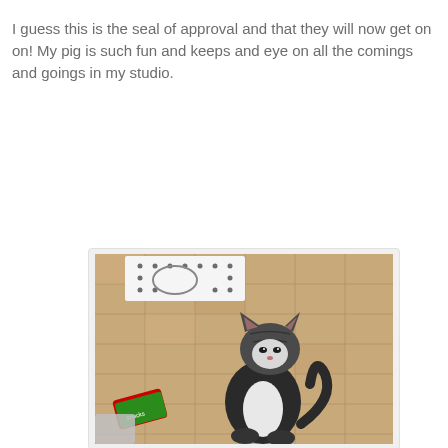I guess this is the seal of approval and that they will now get on on! My pig is such fun and keeps and eye on all the comings and goings in my studio.
[Figure (photo): A cat (black and white tabby) sitting on a tiled floor, looking upward. In the background there is a dotted/decorative paper cutout and a green snack/treat packet on the floor.]